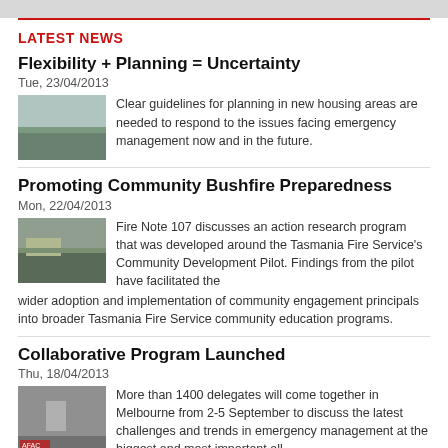LATEST NEWS
Flexibility + Planning = Uncertainty
Tue, 23/04/2013
[Figure (photo): Thumbnail photo of housing/landscape area]
Clear guidelines for planning in new housing areas are needed to respond to the issues facing emergency management now and in the future.
Promoting Community Bushfire Preparedness
Mon, 22/04/2013
[Figure (photo): Thumbnail photo of bushfire / community building]
Fire Note 107 discusses an action research program that was developed around the Tasmania Fire Service's Community Development Pilot. Findings from the pilot have facilitated the wider adoption and implementation of community engagement principals into broader Tasmania Fire Service community education programs.
Collaborative Program Launched
Thu, 18/04/2013
[Figure (photo): Thumbnail photo of conference/speaker at AFAC event]
More than 1400 delegates will come together in Melbourne from 2-5 September to discuss the latest challenges and trends in emergency management at the biggest and most important all hazards conference of its kind in Australasia, the 20th AFAC and 10th Bushfire CRC conference.
AFAC Group Discussion
Thu, 18/04/2013